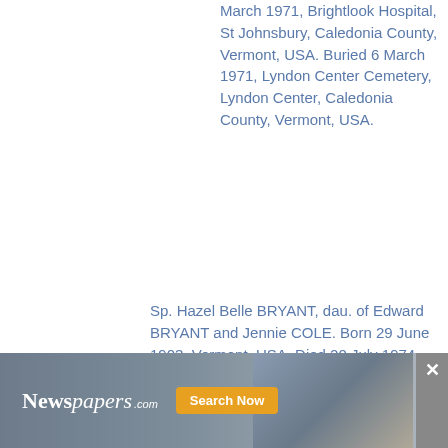March 1971, Brightlook Hospital, St Johnsbury, Caledonia County, Vermont, USA. Buried 6 March 1971, Lyndon Center Cemetery, Lyndon Center, Caledonia County, Vermont, USA.
Sp. Hazel Belle BRYANT, dau. of Edward BRYANT and Jennie COLE. Born 29 June 1903, Vermont, USA. Died 20 July 1974, East Burke, Caledonia County, Vermont, USA. Buried 24 July 1974, Pleasant Hill Cemetery, Newark, Caledonia County, Vermont, USA.
5. Beverly Mary CAMBER. Born 19 June 1925, Holland, Orleans County, Vermont, USA. Marr (1) Div